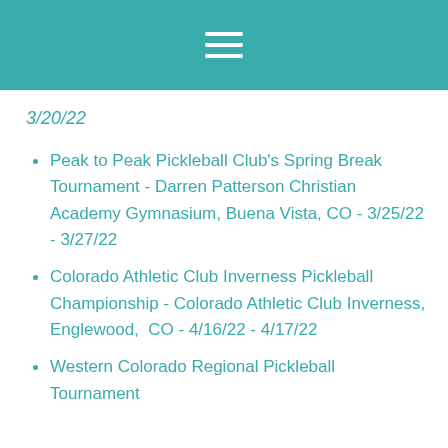≡
3/20/22
Peak to Peak Pickleball Club's Spring Break Tournament - Darren Patterson Christian Academy Gymnasium, Buena Vista, CO - 3/25/22 - 3/27/22
Colorado Athletic Club Inverness Pickleball Championship - Colorado Athletic Club Inverness, Englewood,  CO - 4/16/22 - 4/17/22
Western Colorado Regional Pickleball Tournament